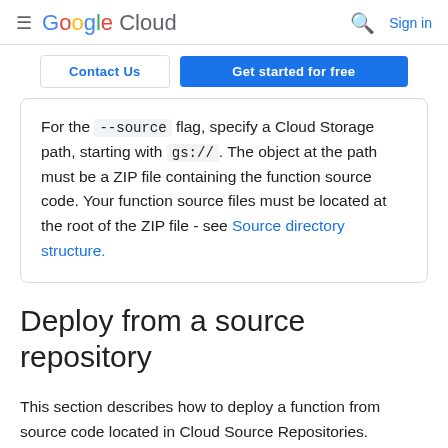Google Cloud — Search | Sign in
Contact Us | Get started for free
For the --source flag, specify a Cloud Storage path, starting with gs://. The object at the path must be a ZIP file containing the function source code. Your function source files must be located at the root of the ZIP file - see Source directory structure.
Deploy from a source repository
This section describes how to deploy a function from source code located in Cloud Source Repositories. Deploying from Cloud Source Repositories also enables...